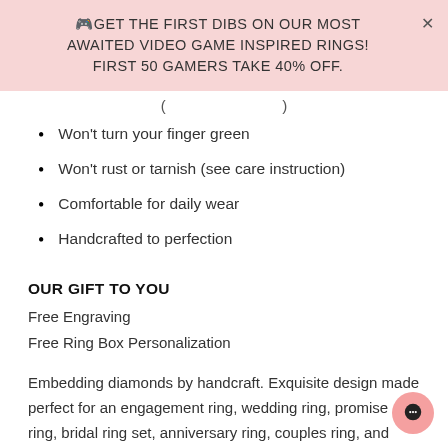🎮GET THE FIRST DIBS ON OUR MOST AWAITED VIDEO GAME INSPIRED RINGS! FIRST 50 GAMERS TAKE 40% OFF.
( ... )
Won't turn your finger green
Won't rust or tarnish (see care instruction)
Comfortable for daily wear
Handcrafted to perfection
OUR GIFT TO YOU
Free Engraving
Free Ring Box Personalization
Embedding diamonds by handcraft. Exquisite design made perfect for an engagement ring, wedding ring, promise ring, bridal ring set, anniversary ring, couples ring, and more. Wonderful gifts for birthdays, Mother's Day, Valentine's Day,